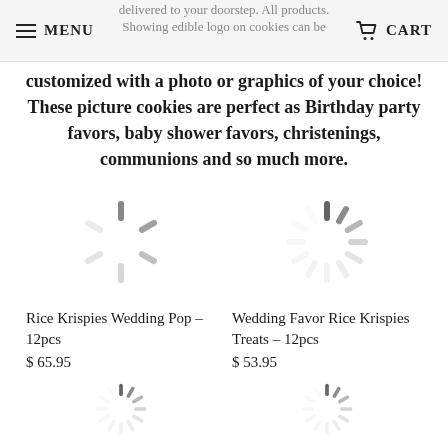MENU | CART
delivered to your doorstep. All products. Showing edible logo on cookies can be customized with a photo or graphics of your choice! These picture cookies are perfect as Birthday party favors, baby shower favors, christenings, communions and so much more.
[Figure (illustration): Loading spinner icon (gray radial spokes)]
Rice Krispies Wedding Pop – 12pcs
$ 65.95
[Figure (illustration): Loading spinner icon (gray radial spokes)]
Wedding Favor Rice Krispies Treats – 12pcs
$ 53.95
[Figure (illustration): Loading spinner icon (gray radial spokes), partially visible]
[Figure (illustration): Loading spinner icon (gray radial spokes), partially visible]